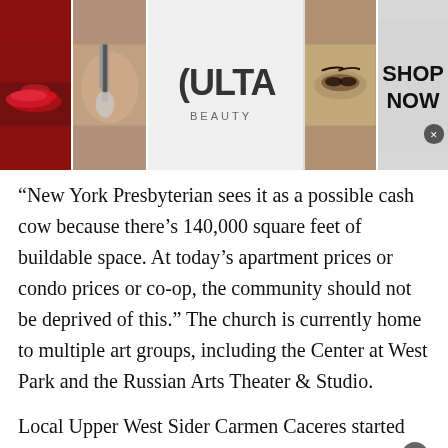[Figure (photo): Advertisement banner for ULTA Beauty featuring close-up beauty/makeup photos and a 'SHOP NOW' call to action]
“New York Presbyterian sees it as a possible cash cow because there’s 140,000 square feet of buildable space. At today’s apartment prices or condo prices or co-op, the community should not be deprived of this.” The church is currently home to multiple art groups, including the Center at West Park and the Russian Arts Theater & Studio.
Local Upper West Sider Carmen Caceres started working at the Center at West Park in the spring of 202…